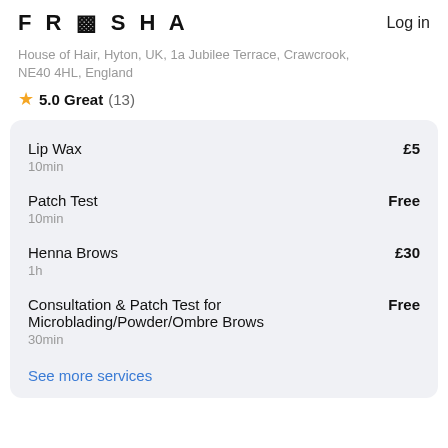FRESHA   Log in
House of Hair, Hyton, UK, 1a Jubilee Terrace, Crawcrook, NE40 4HL, England
⭐ 5.0 Great (13)
Lip Wax  10min  £5
Patch Test  10min  Free
Henna Brows  1h  £30
Consultation & Patch Test for Microblading/Powder/Ombre Brows  30min  Free
See more services